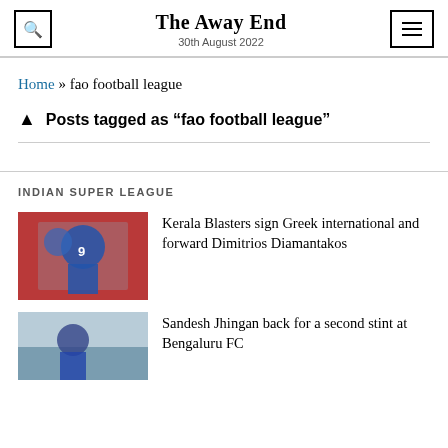The Away End
30th August 2022
Home » fao football league
Posts tagged as "fao football league"
INDIAN SUPER LEAGUE
[Figure (photo): Football player wearing number 9 jersey in blue kit with arms outstretched on a red stadium background]
Kerala Blasters sign Greek international and forward Dimitrios Diamantakos
[Figure (photo): Football player in blue kit on pitch with stadium stands in background]
Sandesh Jhingan back for a second stint at Bengaluru FC